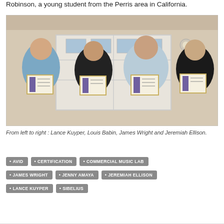Robinson, a young student from the Perris area in California.
[Figure (photo): Four men standing in front of a garage door, each holding a framed certificate. From left to right: Lance Kuyper (blue shirt), Louis Babin (black shirt), James Wright (light blue shirt), Jeremiah Ellison (black shirt).]
From left to right : Lance Kuyper, Louis Babin, James Wright and Jeremiah Ellison.
AVID
CERTIFICATION
COMMERCIAL MUSIC LAB
JAMES WRIGHT
JENNY AMAYA
JEREMIAH ELLISON
LANCE KUYPER
SIBELIUS